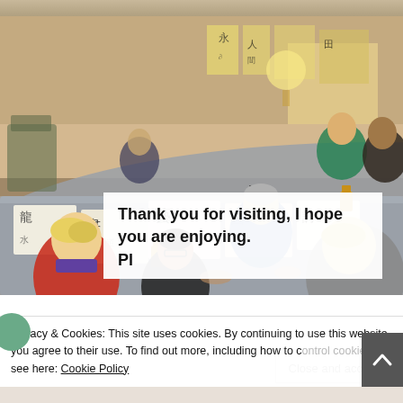[Figure (photo): Group of people sitting around a large table practicing Chinese/Japanese calligraphy in a room with calligraphy artworks on the walls. Multiple participants of various ages are writing with brushes on white paper sheets with Chinese characters visible.]
Thank you for visiting, I hope you are enjoying.
Pl...
Privacy & Cookies: This site uses cookies. By continuing to use this website, you agree to their use. To find out more, including how to control cookies, see here: Cookie Policy
Close and accept